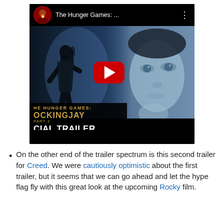[Figure (screenshot): YouTube video thumbnail for The Hunger Games: Mockingjay Part 2 official trailer. Shows a silhouetted archer figure on the left and a close-up face on the right, with a red YouTube play button in the center. Bottom overlay shows 'THE HUNGER GAMES: MOCKINGJAY PART 2 OFFICIAL TRAILER' text.]
On the other end of the trailer spectrum is this second trailer for Creed. We were cautiously optimistic about the first trailer, but it seems that we can go ahead and let the hype flag fly with this great look at the upcoming Rocky film.